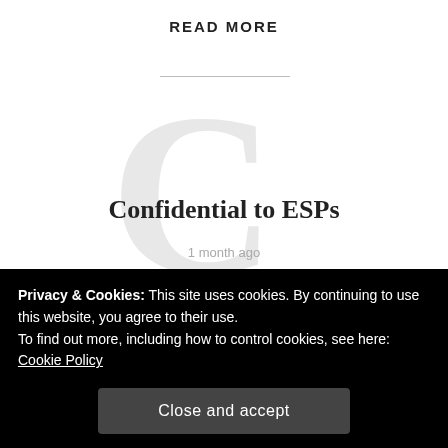READ MORE
Confidential to ESPs
1 month ago
When best practices don't work
Privacy & Cookies: This site uses cookies. By continuing to use this website, you agree to their use.
To find out more, including how to control cookies, see here: Cookie Policy
Close and accept
To Top